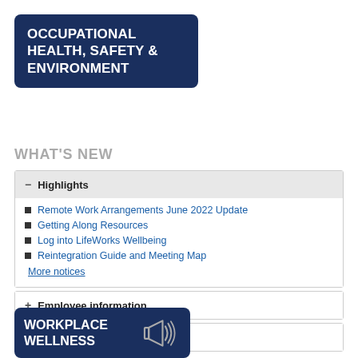OCCUPATIONAL HEALTH, SAFETY & ENVIRONMENT
WHAT'S NEW
Remote Work Arrangements June 2022 Update
Getting Along Resources
Log into LifeWorks Wellbeing
Reintegration Guide and Meeting Map
More notices
+ Employee information
+ Additional resources
WORKPLACE WELLNESS